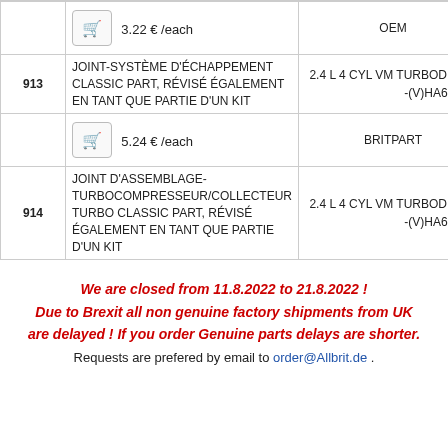| # | Description | Spec / Brand |
| --- | --- | --- |
|  | 3.22 € /each | OEM |
| 913 | JOINT-SYSTÈME D'ÉCHAPPEMENT CLASSIC PART, RÉVISÉ ÉGALEMENT EN TANT QUE PARTIE D'UN KIT | 2.4 L 4 CYL VM TURBODIESEL -(V)HA610293 |
|  | 5.24 € /each | BRITPART |
| 914 | JOINT D'ASSEMBLAGE-TURBOCOMPRESSEUR/COLLECTEUR TURBO CLASSIC PART, RÉVISÉ ÉGALEMENT EN TANT QUE PARTIE D'UN KIT | 2.4 L 4 CYL VM TURBODIESEL -(V)HA610293 |
We are closed from 11.8.2022 to 21.8.2022 ! Due to Brexit all non genuine factory shipments from UK are delayed ! If you order Genuine parts delays are shorter. Requests are prefered by email to order@Allbrit.de .